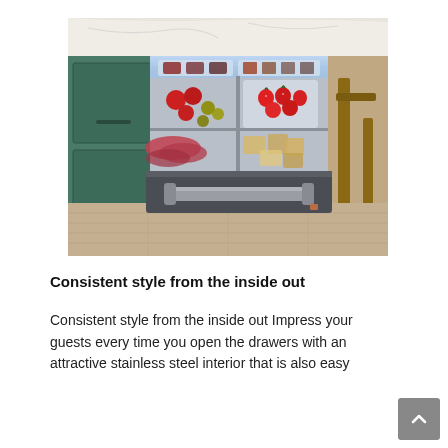[Figure (photo): Overhead view of an open refrigerator drawer built into green cabinetry under a marble countertop. The stainless steel drawer interior contains strawberries, olives, meats, cheeses, and other food items in compartments. The drawer has a dark matte handle.]
Consistent style from the inside out
Consistent style from the inside out Impress your guests every time you open the drawers with an attractive stainless steel interior that is also easy